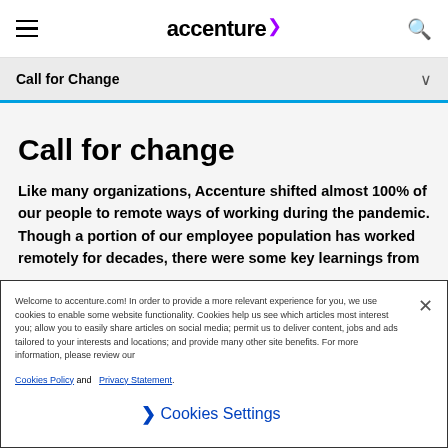accenture
Call for Change
Call for change
Like many organizations, Accenture shifted almost 100% of our people to remote ways of working during the pandemic. Though a portion of our employee population has worked remotely for decades, there were some key learnings from
Welcome to accenture.com! In order to provide a more relevant experience for you, we use cookies to enable some website functionality. Cookies help us see which articles most interest you; allow you to easily share articles on social media; permit us to deliver content, jobs and ads tailored to your interests and locations; and provide many other site benefits. For more information, please review our Cookies Policy and Privacy Statement.
Cookies Settings